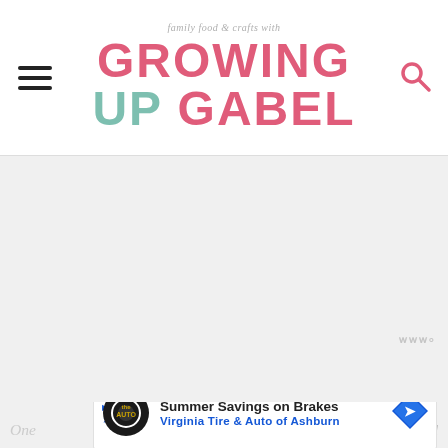family food & crafts with GROWING UP GABEL
[Figure (screenshot): Website header for 'Growing Up Gabel' blog with logo, hamburger menu icon on left, search icon on right, tagline 'family food & crafts with' above logo]
[Figure (photo): Large light gray content area placeholder, main body image area of the webpage]
One needed
[Figure (infographic): Advertisement banner: Summer Savings on Brakes, Virginia Tire & Auto of Ashburn, with tire auto logo and blue arrow navigation icon]